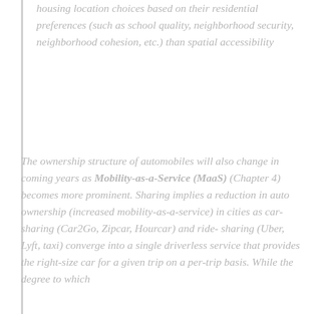housing location choices based on their residential preferences (such as school quality, neighborhood security, neighborhood cohesion, etc.) than spatial accessibility
The ownership structure of automobiles will also change in coming years as Mobility-as-a-Service (MaaS) (Chapter 4) becomes more prominent. Sharing implies a reduction in auto ownership (increased mobility-as-a-service) in cities as car-sharing (Car2Go, Zipcar, Hourcar) and ride- sharing (Uber, Lyft, taxi) converge into a single driverless service that provides the right-size car for a given trip on a per-trip basis. While the degree to which